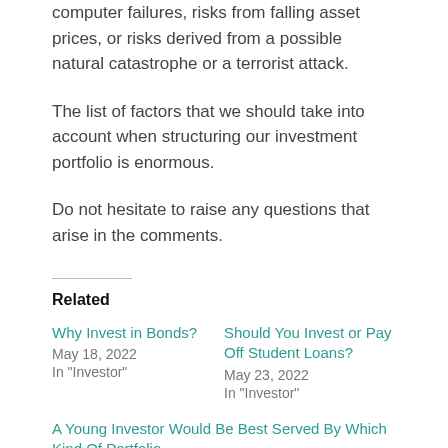computer failures, risks from falling asset prices, or risks derived from a possible natural catastrophe or a terrorist attack.
The list of factors that we should take into account when structuring our investment portfolio is enormous.
Do not hesitate to raise any questions that arise in the comments.
Related
Why Invest in Bonds?
May 18, 2022
In "Investor"
Should You Invest or Pay Off Student Loans?
May 23, 2022
In "Investor"
A Young Investor Would Be Best Served By Which Kind Of Portfolio